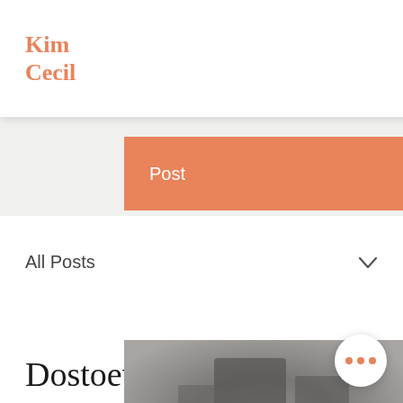Kim Cecil
Log In
Post
All Posts
Kim Cecil 👑
Nov 13, 2020  •  3 min
Dostoevsky's Streets
[Figure (photo): Blurred black and white street/architectural photograph used as article preview image]